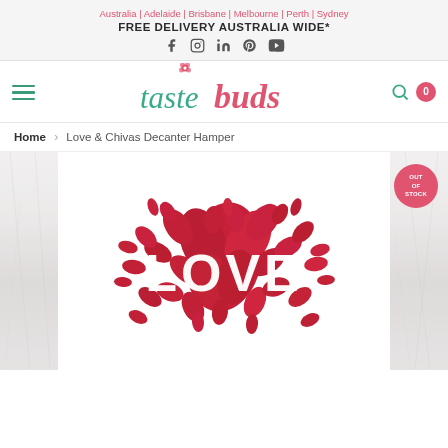Australia | Adelaide | Brisbane | Melbourne | Perth | Sydney
FREE DELIVERY AUSTRALIA WIDE*
[Figure (logo): Tastebuds logo with flower icon above the letter 't', 'taste' in teal script and 'buds' in pink script]
Home > Love & Chivas Decanter Hamper
[Figure (photo): Product image showing red rose petals arranged in a heart shape with the word LOVE in white capital letters on a white marble background, with an Out of Stock badge in pink/red circle in the top right corner]